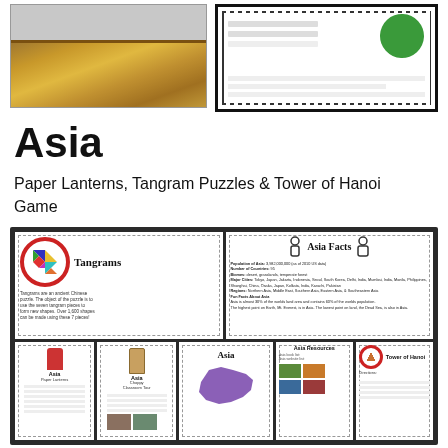[Figure (photo): Two photos at top: left shows a wooden frame/picture frame; right shows an educational worksheet with green leaf illustration and lined text area]
Asia
Paper Lanterns, Tangram Puzzles & Tower of Hanoi Game
[Figure (illustration): Composite educational worksheet image showing: Tangrams page with colorful tangram puzzle and description; Asia Facts page with facts about population, number of countries, biomes, major cities, regions; two Asia activity cards (Paper Lanterns and Classroom Tour); Asia map with purple continent illustration; Asia Resources page; Tower of Hanoi page]